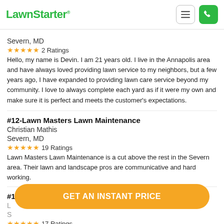LawnStarter
Severn, MD
★★★★★ 2 Ratings
Hello, my name is Devin. I am 21 years old. I live in the Annapolis area and have always loved providing lawn service to my neighbors, but a few years ago, I have expanded to providing lawn care service beyond my community. I love to always complete each yard as if it were my own and make sure it is perfect and meets the customer's expectations.
#12-Lawn Masters Lawn Maintenance
Christian Mathis
Severn, MD
★★★★★ 19 Ratings
Lawn Masters Lawn Maintenance is a cut above the rest in the Severn area. Their lawn and landscape pros are communicative and hard working.
#13-Mackenzie's Lawns Treatment And Landscape
★★★★★ 17 Ratings
GET AN INSTANT PRICE